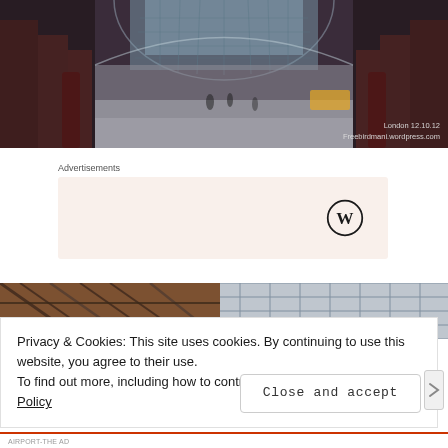[Figure (photo): Interior of St Pancras / railway station with red brick columns, glass roof, and passengers visible in background. Watermark reads: London 12.10.12 / Freebirdmani.wordpress.com]
Advertisements
[Figure (infographic): Advertisement box with light peach background reading 'Need a website quickly – and on a budget?' with WordPress logo on the right]
[Figure (photo): Close-up of railway station steel roof structure with blue sky visible through glass panels]
Privacy & Cookies: This site uses cookies. By continuing to use this website, you agree to their use.
To find out more, including how to control cookies, see here: Cookie Policy
Close and accept